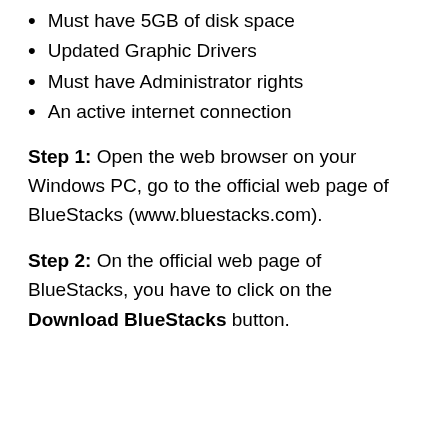Must have 5GB of disk space
Updated Graphic Drivers
Must have Administrator rights
An active internet connection
Step 1: Open the web browser on your Windows PC, go to the official web page of BlueStacks (www.bluestacks.com).
Step 2: On the official web page of BlueStacks, you have to click on the Download BlueStacks button.